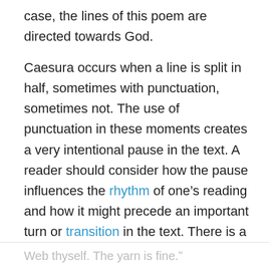case, the lines of this poem are directed towards God.
Caesura occurs when a line is split in half, sometimes with punctuation, sometimes not. The use of punctuation in these moments creates a very intentional pause in the text. A reader should consider how the pause influences the rhythm of one's reading and how it might precede an important turn or transition in the text. There is a good example in line three of the second stanza. It reads: “Then weave the
Web thyself. The yarn is fine.”